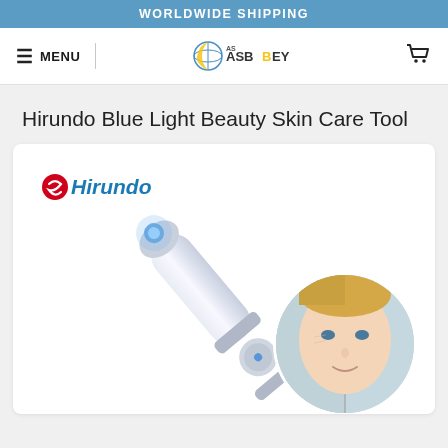WORLDWIDE SHIPPING
≡ MENU
[Figure (logo): ASBBEY brand logo with stylized droplet/globe icon in blue and yellow, text in dark gray]
[Figure (illustration): Shopping cart icon]
Hirundo Blue Light Beauty Skin Care Tool
[Figure (photo): White and silver pen-shaped blue light beauty device (Hirundo branded) shown diagonally on white background, with a circular inset photo of a woman's face half skin-treated]